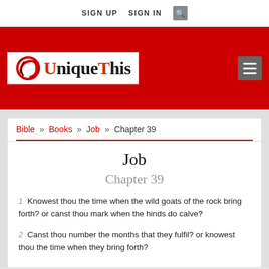SIGN UP   SIGN IN   [search]
[Figure (logo): UniqueThis website logo on red background with hamburger menu]
Bible » Books » Job » Chapter 39
Job
Chapter 39
1  Knowest thou the time when the wild goats of the rock bring forth? or canst thou mark when the hinds do calve?
2  Canst thou number the months that they fulfil? or knowest thou the time when they bring forth?